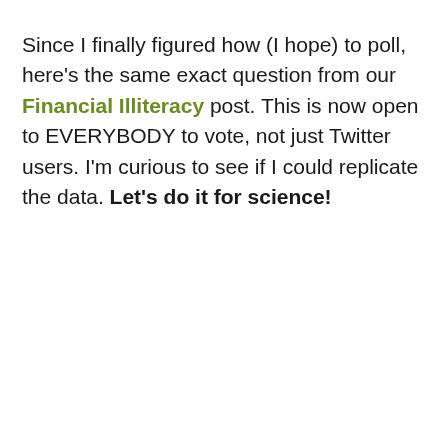Since I finally figured how (I hope) to poll, here's the same exact question from our Financial Illiteracy post. This is now open to EVERYBODY to vote, not just Twitter users. I'm curious to see if I could replicate the data. Let's do it for science!